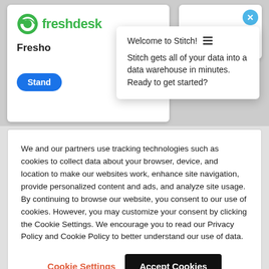[Figure (screenshot): Screenshot of a web page showing two product cards (Freshdesk and Front), a Stitch welcome popup, a close button, and a cookie consent banner. The Stitch popup reads 'Welcome to Stitch!' and 'Stitch gets all of your data into a data warehouse in minutes. Ready to get started?' The cookie banner contains consent text and two buttons: Cookie Settings and Accept Cookies.]
Welcome to Stitch!
Stitch gets all of your data into a data warehouse in minutes. Ready to get started?
We and our partners use tracking technologies such as cookies to collect data about your browser, device, and location to make our websites work, enhance site navigation, provide personalized content and ads, and analyze site usage. By continuing to browse our website, you consent to our use of cookies. However, you may customize your consent by clicking the Cookie Settings. We encourage you to read our Privacy Policy and Cookie Policy to better understand our use of data.
Cookie Settings
Accept Cookies